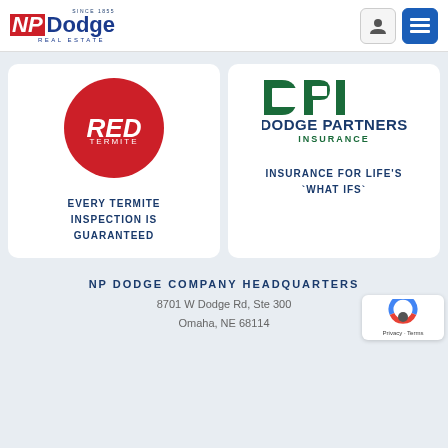[Figure (logo): NP Dodge Real Estate logo - red NP box with blue Dodge text, 'Since 1855' and 'Real Estate' text]
[Figure (logo): Red Termite logo - red circle with white italic RED text and TERMITE below]
EVERY TERMITE INSPECTION IS GUARANTEED
[Figure (logo): Dodge Partners Insurance logo - DPI icon in green with bold DODGE PARTNERS INSURANCE text]
INSURANCE FOR LIFE'S `WHAT IFS`
NP DODGE COMPANY HEADQUARTERS
8701 W Dodge Rd, Ste 300
Omaha, NE 68114